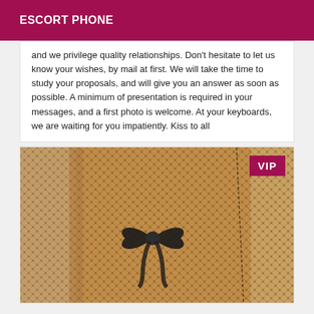ESCORT PHONE
and we privilege quality relationships. Don't hesitate to let us know your wishes, by mail at first. We will take the time to study your proposals, and will give you an answer as soon as possible. A minimum of presentation is required in your messages, and a first photo is welcome. At your keyboards, we are waiting for you impatiently. Kiss to all
[Figure (photo): Close-up photo of fishnet stockings with a black bow detail on the side, against a warm tan/brown background. A VIP badge is overlaid in the top-right corner.]